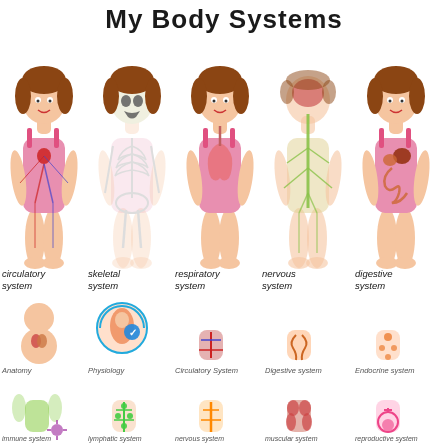My Body Systems
[Figure (illustration): Five cartoon girl figures showing circulatory, skeletal, respiratory, nervous, and digestive body systems with internal organs illustrated]
circulatory system
skeletal system
respiratory system
nervous system
digestive system
[Figure (illustration): Row of small body system icons: Anatomy, Physiology, Circulatory System, Digestive system, Endocrine system]
Anatomy
Physiology
Circulatory System
Digestive system
Endocrine system
[Figure (illustration): Row of small body system icons: immune system, lymphatic system, nervous system, muscular system, reproductive system]
immune system
lymphatic system
nervous system
muscular system
reproductive system